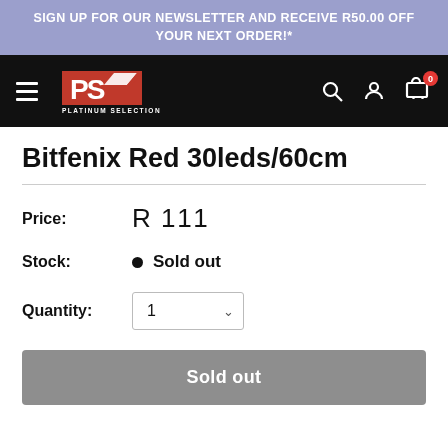SIGN UP FOR OUR NEWSLETTER AND RECEIVE R50.00 OFF YOUR NEXT ORDER!*
[Figure (logo): Platinum Selection logo with hamburger menu and nav icons (search, account, cart with badge 0) on black background]
Bitfenix Red 30leds/60cm
Price: R 111
Stock: • Sold out
Quantity: 1
Sold out